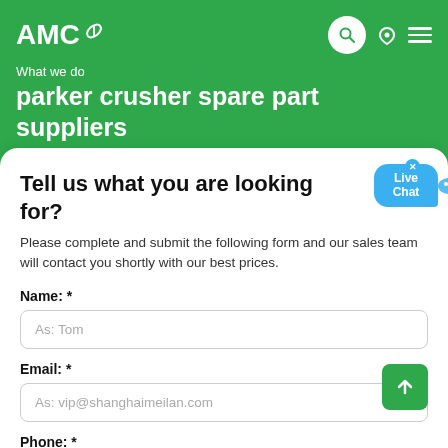AMC
What we do
parker crusher spare part suppliers
Tell us what you are looking for?
Please complete and submit the following form and our sales team will contact you shortly with our best prices.
Name: *
As: Tom
Email: *
As: vip@shanghaimeilan.com
Phone: *
With Country Code